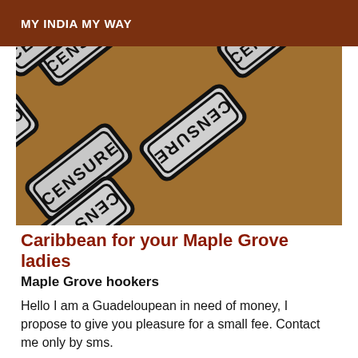MY INDIA MY WAY
[Figure (photo): Multiple censure stamp tiles arranged diagonally on a brown wooden background, each showing the word CENSURE in bold black letters on a grey rounded rectangle, some upside down.]
Caribbean for your Maple Grove ladies
Maple Grove hookers
Hello I am a Guadeloupean in need of money, I propose to give you pleasure for a small fee. Contact me only by sms.
[Figure (photo): Partial image at the bottom, appears to be a person photo, only top portion visible.]